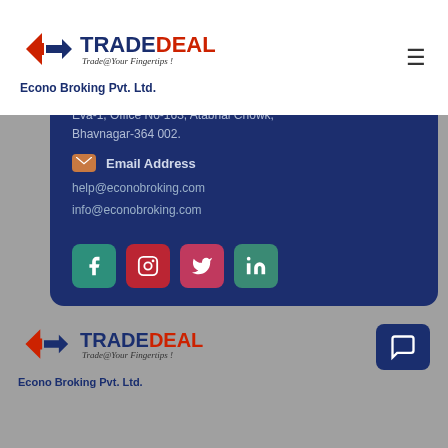[Figure (logo): TradeDeal logo with red and blue arrow icon, text TRADEDEAL and tagline Trade@Your Fingertips!]
Econo Broking Pvt. Ltd.
Eva-1, Office No-163, Atabhai Chowk, Bhavnagar-364 002.
Email Address
help@econobroking.com
info@econobroking.com
[Figure (other): Social media icons: Facebook, Instagram, Twitter, LinkedIn]
[Figure (logo): TradeDeal logo with red and blue arrow icon, text TRADEDEAL and tagline Trade@Your Fingertips! (footer version)]
Econo Broking Pvt. Ltd.